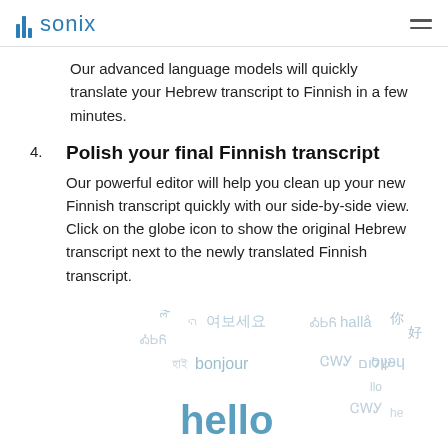sonix
Our advanced language models will quickly translate your Hebrew transcript to Finnish in a few minutes.
4. Polish your final Finnish transcript
Our powerful editor will help you clean up your new Finnish transcript quickly with our side-by-side view. Click on the globe icon to show the original Hebrew transcript next to the newly translated Finnish transcript.
[Figure (illustration): Decorative multilingual greetings text collage in light blue/grey tones, including words: 여보세요, bonjour, hello, hallå, 你好, שלום, and others in various scripts and sizes]